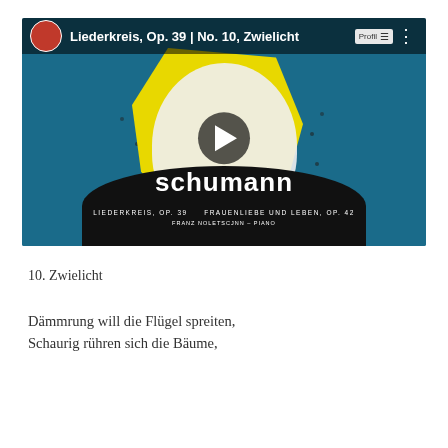[Figure (screenshot): YouTube video thumbnail showing Schumann Liederkreis Op. 39 No. 10 Zwielicht album art with a woman's face in yellow and teal colors, with play button overlay and video title bar at top]
10. Zwielicht
Dämmrung will die Flügel spreiten,
Schaurig rühren sich die Bäume,